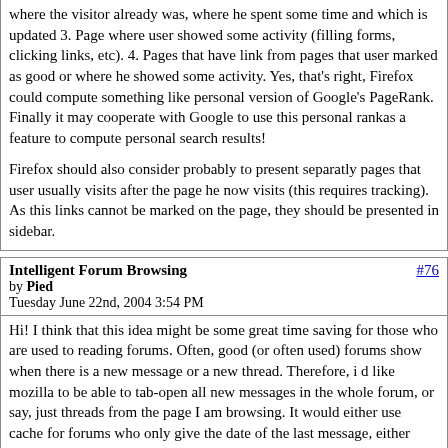where the visitor already was, where he spent some time and which is updated 3. Page where user showed some activity (filling forms, clicking links, etc). 4. Pages that have link from pages that user marked as good or where he showed some activity. Yes, that's right, Firefox could compute something like personal version of Google's PageRank. Finally it may cooperate with Google to use this personal rankas a feature to compute personal search results!

Firefox should also consider probably to present separatly pages that user usually visits after the page he now visits (this requires tracking). As this links cannot be marked on the page, they should be presented in sidebar.
Intelligent Forum Browsing
by Pied
Tuesday June 22nd, 2004 3:54 PM
Hi! I think that this idea might be some great time saving for those who are used to reading forums. Often, good (or often used) forums show when there is a new message or a new thread. Therefore, i d like mozilla to be able to tab-open all new messages in the whole forum, or say, just threads from the page I am browsing. It would either use cache for forums who only give the date of the last message, either parse the code to see if the thread has a "new message" icon or a different color link. Then, it would open the last page of this thread.